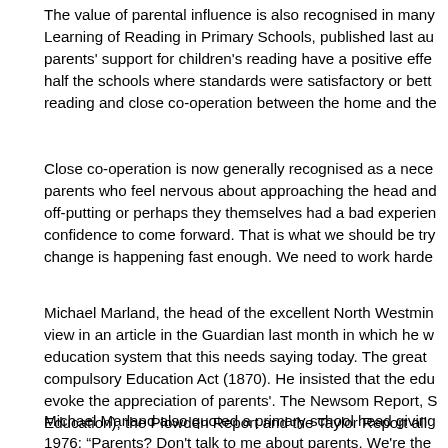The value of parental influence is also recognised in many Learning of Reading in Primary Schools, published last au parents' support for children's reading have a positive effe half the schools where standards were satisfactory or bett reading and close co-operation between the home and the
Close co-operation is now generally recognised as a nece parents who feel nervous about approaching the head and off-putting or perhaps they themselves had a bad experien confidence to come forward. That is what we should be try change is happening fast enough. We need to work harde
Michael Marland, the head of the excellent North Westmin view in an article in the Guardian last month in which he w education system that this needs saying today. The great compulsory Education Act (1870). He insisted that the edu evoke the appreciation of parents'. The Newsom Report, S Education), the Plowden Report and the Taylor Report all
Michael Marland also quoted a primary school head giving 1976: “Parents? Don't talk to me about parents. We're the